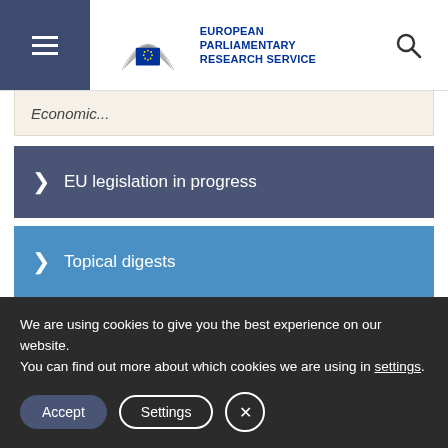European Parliamentary Research Service
Economic...
EU legislation in progress
Topical digests
EPRS podcasts
DOWNLOAD THE EPRS APP
We are using cookies to give you the best experience on our website.
You can find out more about which cookies we are using in settings.